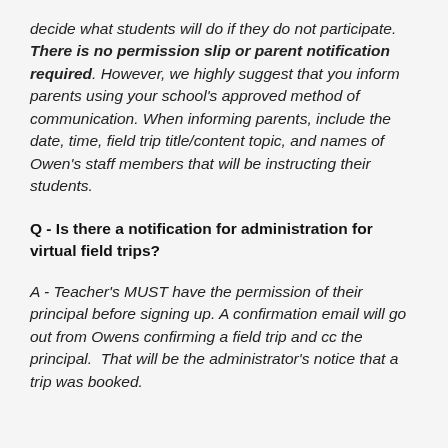decide what students will do if they do not participate. There is no permission slip or parent notification required. However, we highly suggest that you inform parents using your school's approved method of communication. When informing parents, include the date, time, field trip title/content topic, and names of Owen's staff members that will be instructing their students.
Q - Is there a notification for administration for virtual field trips?
A - Teacher's MUST have the permission of their principal before signing up. A confirmation email will go out from Owens confirming a field trip and cc the principal. That will be the administrator's notice that a trip was booked.